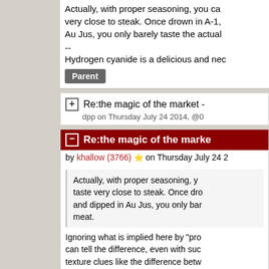Actually, with proper seasoning, you can very close to steak. Once drown in A-1, Au Jus, you only barely taste the actual
--
Hydrogen cyanide is a delicious and nec
Parent
Re:the magic of the market -
dpp on Thursday July 24 2014, @0
Re:the magic of the marke
by khallow (3766) ⭐ on Thursday July 24 2
Actually, with proper seasoning, you can taste very close to steak. Once dro and dipped in Au Jus, you only bar meat.
Ignoring what is implied here by "pro can tell the difference, even with suc texture clues like the difference betw breast). For example, I can distinguis or between ground beef and ground insensitive too.